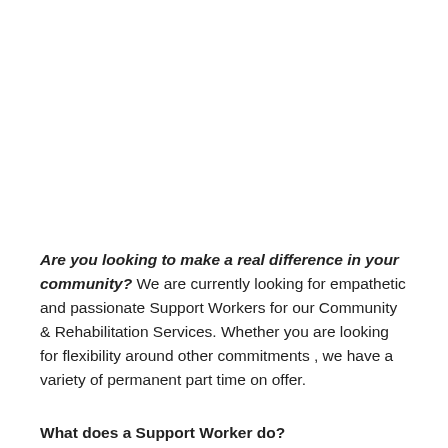Are you looking to make a real difference in your community? We are currently looking for empathetic and passionate Support Workers for our Community & Rehabilitation Services. Whether you are looking for flexibility around other commitments , we have a variety of permanent part time on offer.
What does a Support Worker do?